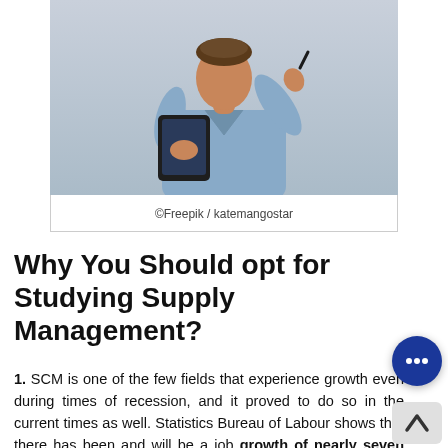[Figure (photo): A man holding a tablet and a pen, wearing a light blue shirt, photographed against a light grey background]
©Freepik / katemangostar
Why You Should opt for Studying Supply Management?
1. SCM is one of the few fields that experience growth even during times of recession, and it proved to do so in the current times as well. Statistics Bureau of Labour shows that there has been and will be a job growth of nearly seven percent between 2016 and 2026. So, you'll